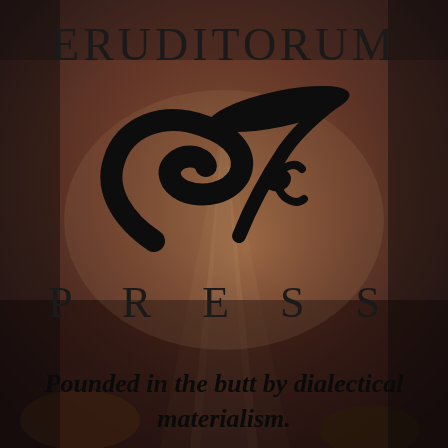[Figure (logo): Eruditorum Press logo page with background photo of classical painting figures. Features the text ERUDITORUM at top, a stylized EP monogram logo in black, PRESS below it with wide letter-spacing, and tagline 'Pounded in the butt by dialectical materialism.' at the bottom. Background is a dark reddish-brown toned classical painting scene.]
ERUDITORUM
P R E S S
Pounded in the butt by dialectical materialism.